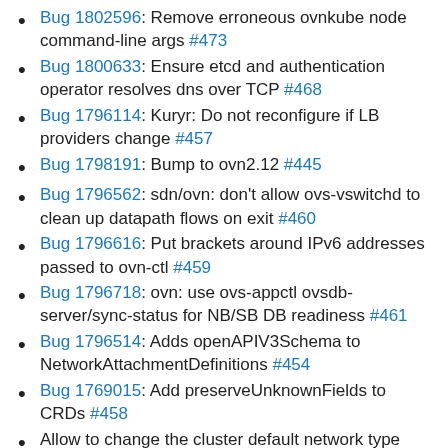Bug 1802596: Remove erroneous ovnkube node command-line args #473
Bug 1800633: Ensure etcd and authentication operator resolves dns over TCP #468
Bug 1796114: Kuryr: Do not reconfigure if LB providers change #457
Bug 1798191: Bump to ovn2.12 #445
Bug 1796562: sdn/ovn: don't allow ovs-vswitchd to clean up datapath flows on exit #460
Bug 1796616: Put brackets around IPv6 addresses passed to ovn-ctl #459
Bug 1796718: ovn: use ovs-appctl ovsdb-server/sync-status for NB/SB DB readiness #461
Bug 1796514: Adds openAPIV3Schema to NetworkAttachmentDefinitions #454
Bug 1769015: Add preserveUnknownFields to CRDs #458
Allow to change the cluster default network type #438